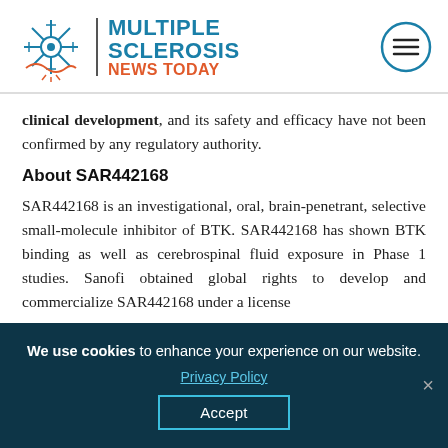[Figure (logo): Multiple Sclerosis News Today logo with snowflake/neuron icon and hamburger menu icon]
clinical development, and its safety and efficacy have not been confirmed by any regulatory authority.
About SAR442168
SAR442168 is an investigational, oral, brain-penetrant, selective small-molecule inhibitor of BTK. SAR442168 has shown BTK binding as well as cerebrospinal fluid exposure in Phase 1 studies. Sanofi obtained global rights to develop and commercialize SAR442168 under a license
We use cookies to enhance your experience on our website. Privacy Policy Accept